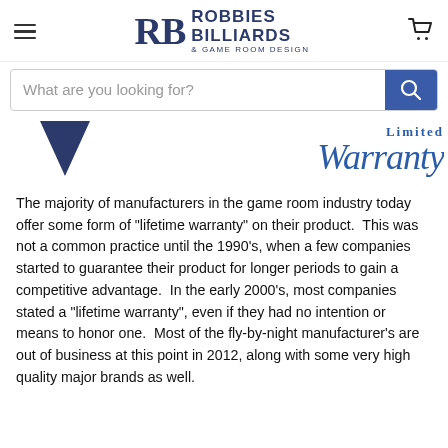Robbies Billiards & Game Room Design
[Figure (screenshot): Website search bar with placeholder text 'What are you looking for?' and a blue search button with magnifying glass icon]
[Figure (illustration): Partial warranty banner image showing a blue triangle chevron pointing down on the left and decorative script text reading 'Limited Warranty' on the right]
The majority of manufacturers in the game room industry today offer some form of "lifetime warranty" on their product.  This was not a common practice until the 1990's, when a few companies started to guarantee their product for longer periods to gain a competitive advantage.  In the early 2000's, most companies stated a "lifetime warranty", even if they had no intention or means to honor one.  Most of the fly-by-night manufacturer's are out of business at this point in 2012, along with some very high quality major brands as well. The more reputable manufacturers focus on...